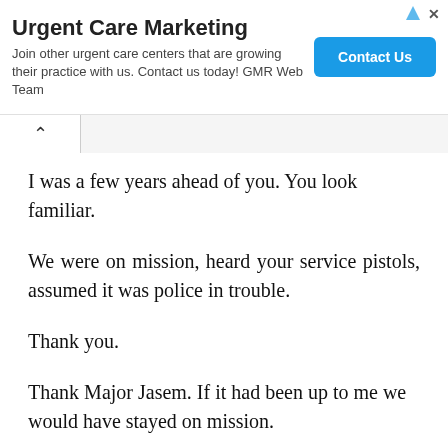[Figure (other): Advertisement banner for Urgent Care Marketing by GMR Web Team with a 'Contact Us' button]
I was a few years ahead of you. You look familiar.
We were on mission, heard your service pistols, assumed it was police in trouble.
Thank you.
Thank Major Jasem. If it had been up to me we would have stayed on mission.